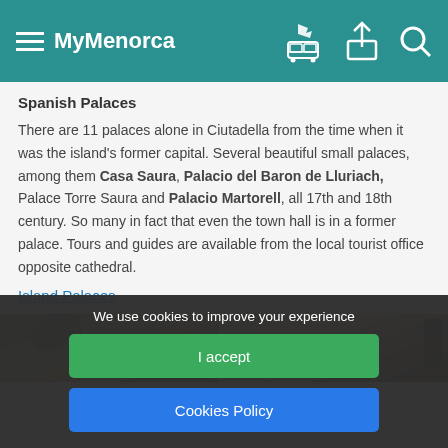MyMenorca
Spanish Palaces
There are 11 palaces alone in Ciutadella from the time when it was the island's former capital. Several beautiful small palaces, among them Casa Saura, Palacio del Baron de Lluriach, Palace Torre Saura and Palacio Martorell, all 17th and 18th century. So many in fact that even the town hall is in a former palace. Tours and guides are available from the local tourist office opposite cathedral.
Island Palaces
[Figure (photo): Photo strip showing palaces in Menorca]
We use cookies to improve your experience
I accept
Cookies Policy